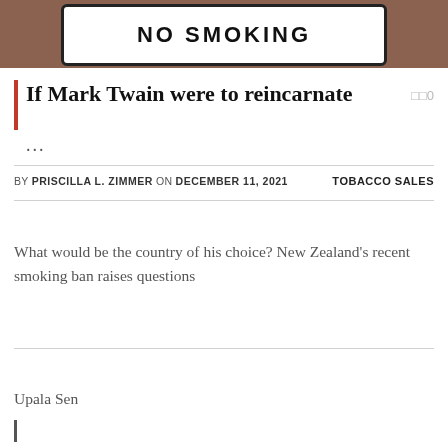[Figure (photo): Photo of a No Smoking sign mounted on a brick wall. The sign is white with black text and a black rounded rectangle border.]
If Mark Twain were to reincarnate
...
BY PRISCILLA L. ZIMMER ON DECEMBER 11, 2021   TOBACCO SALES
What would be the country of his choice? New Zealand's recent smoking ban raises questions
Upala Sen